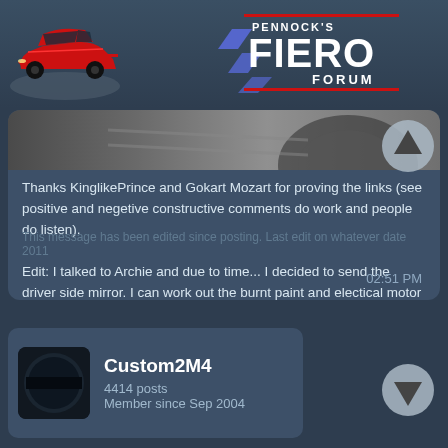[Figure (logo): Pennock's Fiero Forum logo with red Fiero car illustration and stylized text]
[Figure (photo): Partial photo of a car, showing tires/undercarriage area]
Thanks KinglikePrince and Gokart Mozart for proving the links (see positive and negetive constructive comments do work and people do listen).

Edit: I talked to Archie and due to time... I decided to send the driver side mirror. I can work out the burnt paint and electical motor wire issues later once the car is back to CA. As of now, I hardly ever reposition my stock mirrors...I the only driver, hehe.
02:51 PM
[Figure (illustration): User avatar for Custom2M4 - dark circular icon]
Custom2M4
4414 posts
Member since Sep 2004